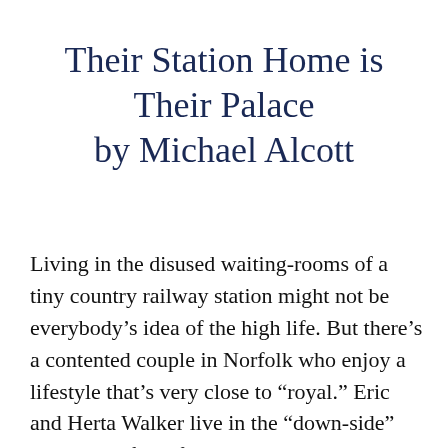Their Station Home is Their Palace by Michael Alcott
Living in the disused waiting-rooms of a tiny country railway station might not be everybody’s idea of the high life. But there’s a contented couple in Norfolk who enjoy a lifestyle that’s very close to “royal.” Eric and Herta Walker live in the “down-side” buildings of Wolferton Station. This was the railway station that was used by royalty when visiting or